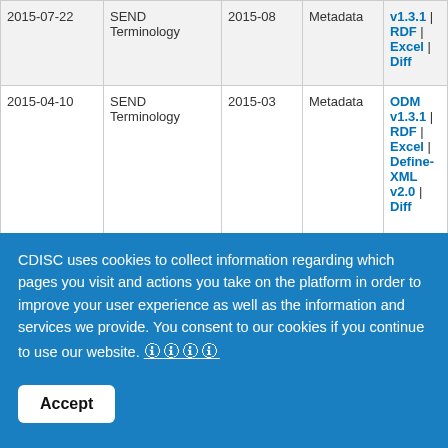| Date | Type | Version | Category | Downloads |
| --- | --- | --- | --- | --- |
| 2015-07-22 | SEND Terminology | 2015-08 | Metadata | v1.3.1 | RDF | Excel | Diff |
| 2015-04-10 | SEND Terminology | 2015-03 | Metadata | ODM v1.3.1 | RDF | Excel | Define-XML v2.0 | Diff |
| 2015-04-10 | SEND Terminology | 2014-12 | Metadata | ODM v1.3.1 | RDF | Excel | Define-XML |
CDISC uses cookies to collect information regarding which pages you visit and actions you take on the platform in order to improve your user experience as well as the information and services we provide. You consent to our cookies if you continue to use our website.